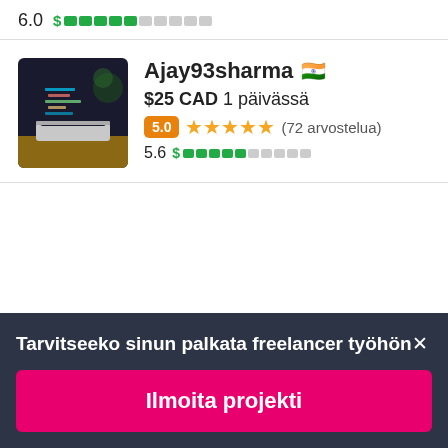6.0  $ ████░░░░░
[Figure (photo): Laptop computer on desk, dark screen, profile photo for Ajay93sharma]
Ajay93sharma 🇮🇳
$25 CAD 1 päivässä
5.0 ★★★★★ (72 arvostelua)
5.6 $ ████░░░░░
Tarvitseeko sinun palkata freelancer työhön✕
Ilmoita projekti